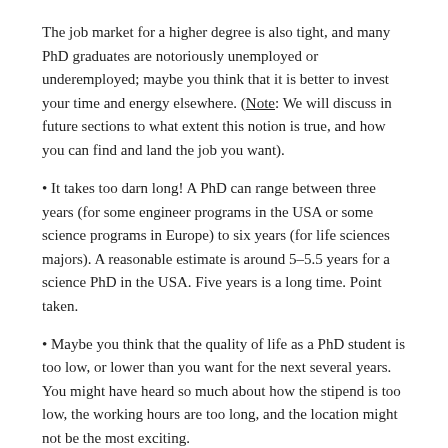The job market for a higher degree is also tight, and many PhD graduates are notoriously unemployed or underemployed; maybe you think that it is better to invest your time and energy elsewhere. (Note: We will discuss in future sections to what extent this notion is true, and how you can find and land the job you want).
• It takes too darn long! A PhD can range between three years (for some engineer programs in the USA or some science programs in Europe) to six years (for life sciences majors). A reasonable estimate is around 5–5.5 years for a science PhD in the USA. Five years is a long time. Point taken.
• Maybe you think that the quality of life as a PhD student is too low, or lower than you want for the next several years. You might have heard so much about how the stipend is too low, the working hours are too long, and the location might not be the most exciting.
• More homework? No way!